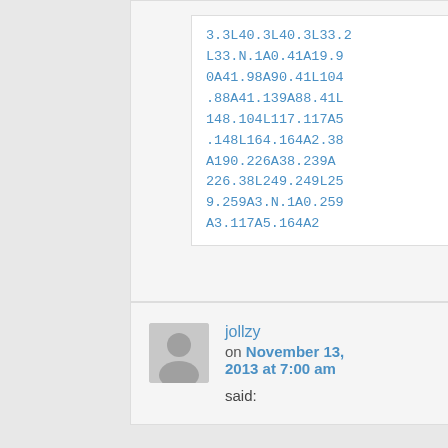3.3L40.3L40.3L33.2L33.N.1A0.41A19.90A41.98A90.41L104.88A41.139A88.41L148.104L117.117A5.148L164.164A2.38A190.226A38.239A226.38L249.249L259.259A3.N.1A0.259A3.117A5.164A2
jollzy
on November 13, 2013 at 7:00 am said: